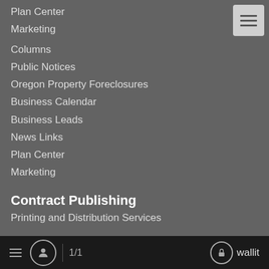Plan Center
Marketing
Columns
Public Notices
Oregon Property Foreclosures
Business Calendar
Business Leads
News Links
Plan Center
Marketing
Contract Publishing
Printing and Distribution Services
Special Publications
Public Notices
Digital Advertising
1/1  wallit